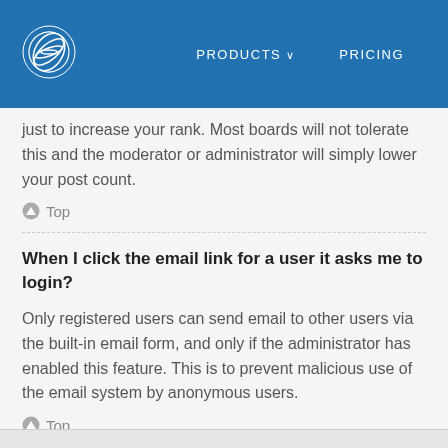PRODUCTS  PRICING
just to increase your rank. Most boards will not tolerate this and the moderator or administrator will simply lower your post count.
⬆ Top
When I click the email link for a user it asks me to login?
Only registered users can send email to other users via the built-in email form, and only if the administrator has enabled this feature. This is to prevent malicious use of the email system by anonymous users.
⬆ Top